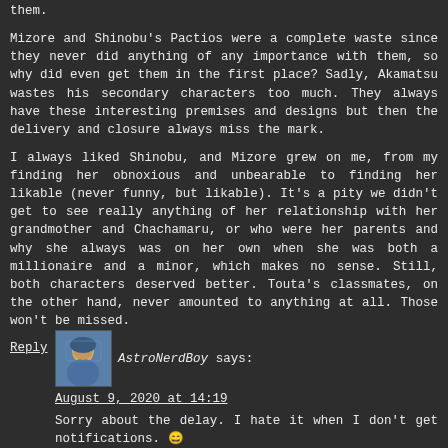them.
Mizore and Shinobu's Pactios were a complete waste since they never did anything of any importance with them, so why did even get them in the first place? Sadly, Akamatsu wastes his secondary characters too much. They always have these interesting premises and designs but then the delivery and closure always miss the mark.
I always liked Shinobu, and Mizore grew on me, from my finding her obnoxious and unbearable to finding her likable (never funny, but likable). It's a pity we didn't get to see really anything of her relationship with her grandmother and Chachamaru, or who were her parents and why she always was on her own when she was both a millionaire and a minor, which makes no sense. Still, both characters deserved better. Touta's classmates, on the other hand, never amounted to anything at all. Those won't be missed.
Reply
AstroNerdBoy says:
August 9, 2020 at 14:19
Sorry about the delay. I hate it when I don't get notifications. 😄